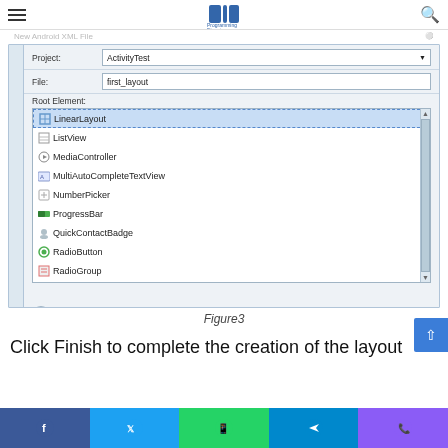Programming Digest — navigation header with hamburger menu and search
[Figure (screenshot): Android IDE dialog showing 'New Android XML File' wizard. Fields: Project: ActivityTest, File: first_layout, Root Element list with LinearLayout selected (highlighted in blue), followed by ListView, MediaController, MultiAutoCompleteTextView, NumberPicker, ProgressBar, QuickContactBadge, RadioButton, RadioGroup, RatingBar. Buttons at bottom: Help (?), < Back, Next >, Finish (highlighted), Cancel.]
Figure3
Click Finish to complete the creation of the layout
Facebook  Twitter  WhatsApp  Telegram  Phone